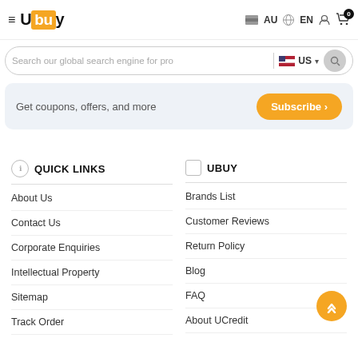≡ Ubuy | AU | EN | Account | Cart 0
Search our global search engine for pro | US
Get coupons, offers, and more  Subscribe >
QUICK LINKS
About Us
Contact Us
Corporate Enquiries
Intellectual Property
Sitemap
Track Order
UBUY
Brands List
Customer Reviews
Return Policy
Blog
FAQ
About UCredit